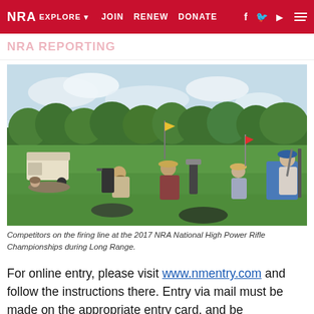NRA EXPLORE ▾  JOIN  RENEW  DONATE  f  🐦  ▶  ≡
[Figure (photo): Competitors lying prone and sitting on grass at a shooting range firing line, with various equipment, chairs, spotting scopes, and a golf cart visible. Trees line the background. Sunny day.]
Competitors on the firing line at the 2017 NRA National High Power Rifle Championships during Long Range.
For online entry, please visit www.nmentry.com and follow the instructions there. Entry via mail must be made on the appropriate entry card, and be